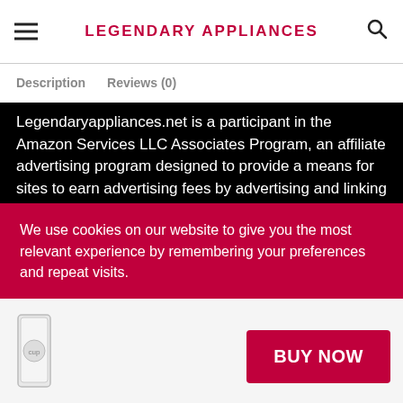LEGENDARY APPLIANCES
Description   Reviews (0)
Legendaryappliances.net is a participant in the Amazon Services LLC Associates Program, an affiliate advertising program designed to provide a means for sites to earn advertising fees by advertising and linking to Amazon.com
Affiliate Policy
Privacy Policy
We use cookies on our website to give you the most relevant experience by remembering your preferences and repeat visits.
[Figure (illustration): Product thumbnail image of a glass/cup]